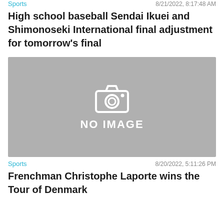Sports    8/21/2022, 8:17:48 AM
High school baseball Sendai Ikuei and Shimonoseki International final adjustment for tomorrow's final
[Figure (photo): No image placeholder with camera icon and text 'NO IMAGE' on grey background]
Sports    8/20/2022, 5:11:26 PM
Frenchman Christophe Laporte wins the Tour of Denmark